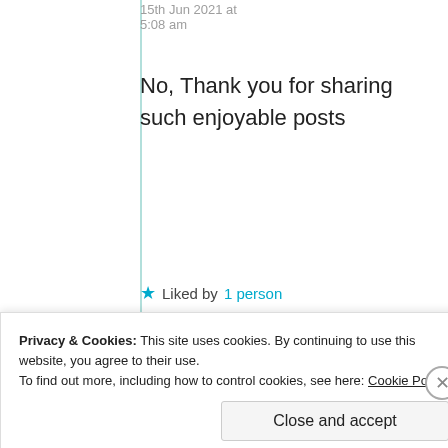15th Jun 2021 at 5:08 am
No, Thank you for sharing such enjoyable posts
★ Liked by 1 person
Suma Reddy
Privacy & Cookies: This site uses cookies. By continuing to use this website, you agree to their use.
To find out more, including how to control cookies, see here: Cookie Policy
Close and accept